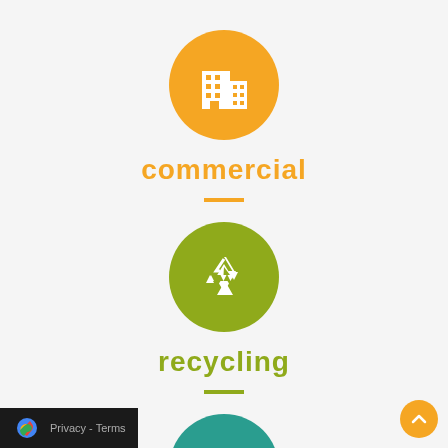[Figure (infographic): Orange circle with white commercial building icon, labeled 'commercial' in orange text below, followed by an orange divider line]
commercial
[Figure (infographic): Olive/yellow-green circle with white recycling arrows icon, labeled 'recycling' in green text below, followed by a green divider line]
recycling
[Figure (infographic): Teal circle with white house icon, partially visible at bottom, labeled 'residential' partially visible]
residential
Privacy - Terms